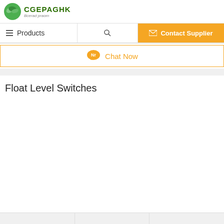[Figure (logo): CGEPAGHK logo with green leaf icon and tagline 'Bcerad praom']
Products | Search | Contact Supplier
Chat Now
Float Level Switches